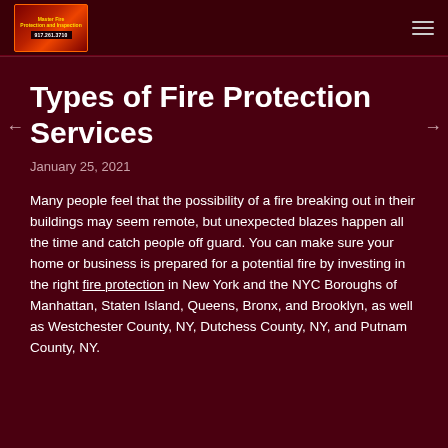[Figure (logo): Master Fire Protection and Inspection logo with phone number 917.261.3710]
Types of Fire Protection Services
January 25, 2021
Many people feel that the possibility of a fire breaking out in their buildings may seem remote, but unexpected blazes happen all the time and catch people off guard. You can make sure your home or business is prepared for a potential fire by investing in the right fire protection in New York and the NYC Boroughs of Manhattan, Staten Island, Queens, Bronx, and Brooklyn, as well as Westchester County, NY, Dutchess County, NY, and Putnam County, NY.